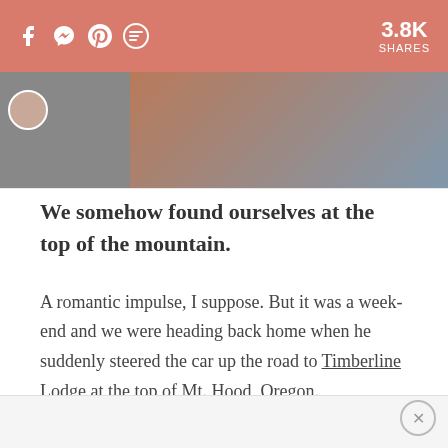f  [messenger]  p  [sms]  3.8K SHARES
[Figure (photo): Partial view of a person, cropped, with a warm-toned background suggesting an outdoor or lodge setting.]
We somehow found ourselves at the top of the mountain.
A romantic impulse, I suppose. But it was a week-end and we were heading back home when he suddenly steered the car up the road to Timberline Lodge at the top of Mt. Hood, Oregon.